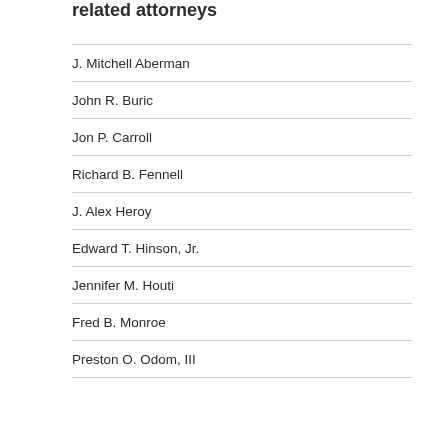related attorneys
J. Mitchell Aberman
John R. Buric
Jon P. Carroll
Richard B. Fennell
J. Alex Heroy
Edward T. Hinson, Jr.
Jennifer M. Houti
Fred B. Monroe
Preston O. Odom, III